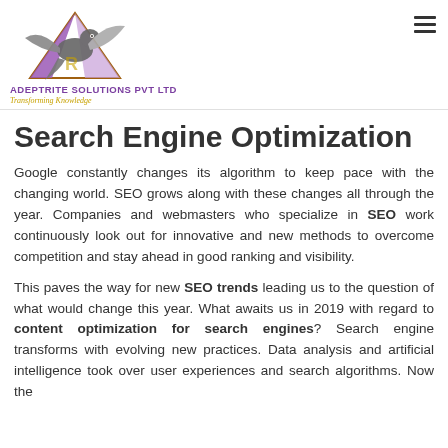[Figure (logo): Adeptrite Solutions Pvt Ltd logo with eagle/bird and triangle graphic in purple, gold and grey colors, company name and tagline 'Transforming Knowledge']
Search Engine Optimization
Google constantly changes its algorithm to keep pace with the changing world. SEO grows along with these changes all through the year. Companies and webmasters who specialize in SEO work continuously look out for innovative and new methods to overcome competition and stay ahead in good ranking and visibility.
This paves the way for new SEO trends leading us to the question of what would change this year. What awaits us in 2019 with regard to content optimization for search engines? Search engine transforms with evolving new practices. Data analysis and artificial intelligence took over user experiences and search algorithms. Now the